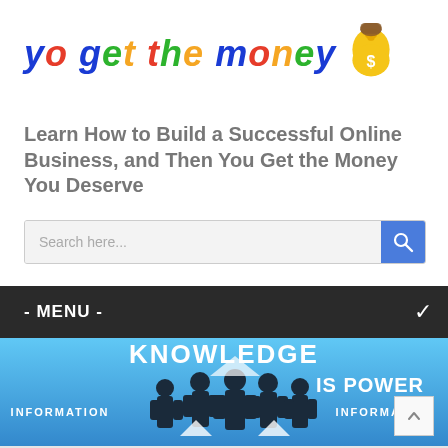[Figure (logo): Colorful italic bold logo text reading 'you get the money' with a gold money bag icon with dollar sign]
Learn How to Build a Successful Online Business, and Then You Get the Money You Deserve
[Figure (screenshot): Search bar with placeholder text 'Search here...' and a blue search button with magnifying glass icon]
- MENU -
[Figure (photo): Banner image with bright blue gradient background showing silhouettes of business people and text 'KNOWLEDGE IS POWER INFORMATION INFORMATION']
How to Make Yourself Sexy